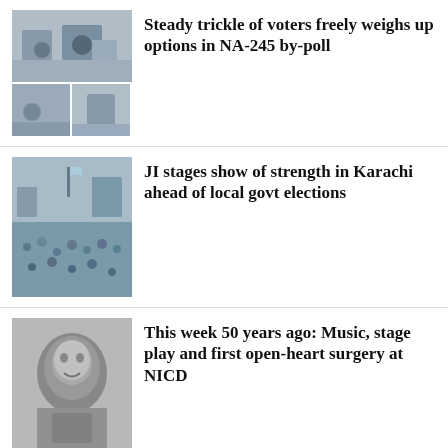[Figure (photo): News article image for voters/by-poll story — stacked images of street scene with people and traffic]
Steady trickle of voters freely weighs up options in NA-245 by-poll
[Figure (photo): Large crowd rally photo for JI Karachi show of strength story]
JI stages show of strength in Karachi ahead of local govt elections
[Figure (photo): Black and white medical/historical photo for NICD story]
This week 50 years ago: Music, stage play and first open-heart surgery at NICD
[Figure (photo): Partial bottom image, appears to be an indoor or stage scene]